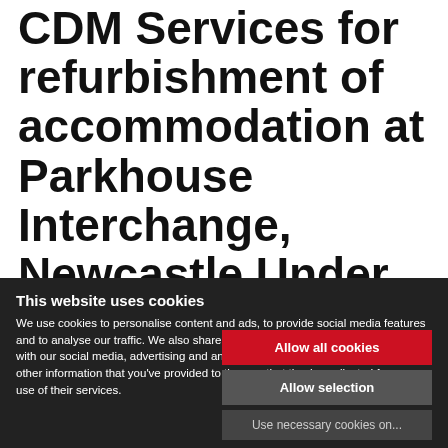CDM Services for refurbishment of accommodation at Parkhouse Interchange, Newcastle Under Lyme.
This website uses cookies
We use cookies to personalise content and ads, to provide social media features and to analyse our traffic. We also share information about your use of our site with our social media, advertising and analytics partners who may combine it with other information that you've provided to them or that they've collected from your use of their services.